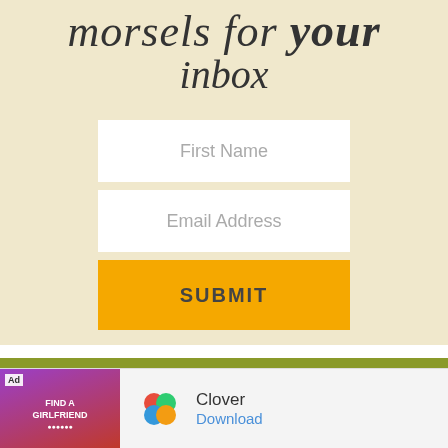morsels for your inbox
[Figure (screenshot): Email signup form with First Name field, Email Address field, and yellow SUBMIT button on beige background]
[Figure (photo): Partial photo of a person's head/hair at bottom of page]
[Figure (infographic): Advertisement banner showing Clover app ad with purple background image and Clover logo with Download link]